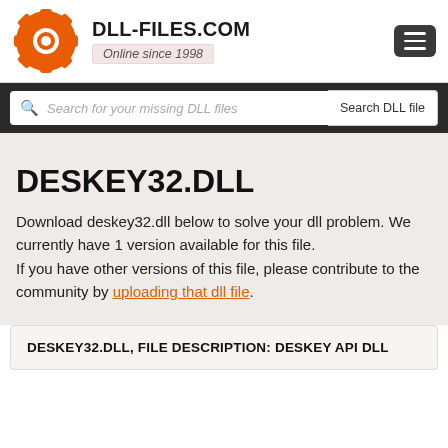[Figure (logo): DLL-Files.com orange gear/wrench logo icon]
DLL-FILES.COM
Online since 1998
Search for your missing DLL files
DESKEY32.DLL
Download deskey32.dll below to solve your dll problem. We currently have 1 version available for this file.
If you have other versions of this file, please contribute to the community by uploading that dll file.
DESKEY32.DLL, FILE DESCRIPTION: DESKEY API DLL